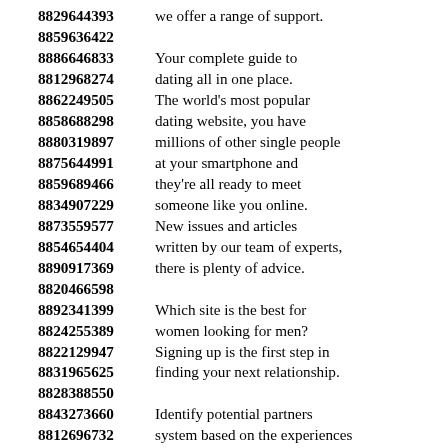8829644393 we offer a range of support.
8859636422
8886646833 Your complete guide to
8812968274 dating all in one place.
8862249505 The world's most popular
8858688298 dating website, you have
8880319897 millions of other single people
8875644991 at your smartphone and
8859689466 they're all ready to meet
8834907229 someone like you online.
8873559577 New issues and articles
8854654404 written by our team of experts,
8890917369 there is plenty of advice.
8820466598
8892341399 Which site is the best for
8824255389 women looking for men?
8822129947 Signing up is the first step in
8831965625 finding your next relationship.
8828388550
8843273660 Identify potential partners
8812696732 system based on the experiences
8892153939 depending on the results of
8894255807 preferences and needs
8876448569 that everyone has provided.
8879786826 Our website opens in a new